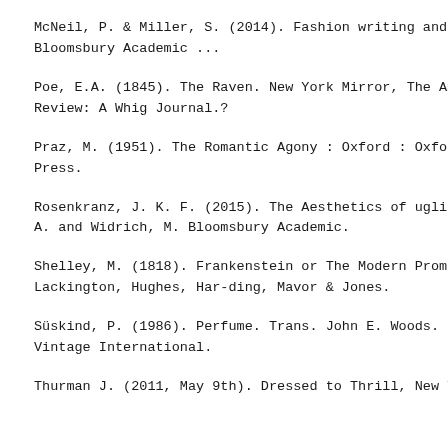McNeil, P. & Miller, S. (2014). Fashion writing and criticism. Bloomsbury Academic ...
Poe, E.A. (1845). The Raven. New York Mirror, The American Review: A Whig Journal.?
Praz, M. (1951). The Romantic Agony : Oxford : Oxford University Press.
Rosenkranz, J. K. F. (2015). The Aesthetics of ugliness. Trans. Pop, A. and Widrich, M. Bloomsbury Academic.
Shelley, M. (1818). Frankenstein or The Modern Prometheus. Lackington, Hughes, Har-ding, Mavor & Jones.
Süskind, P. (1986). Perfume. Trans. John E. Woods. New York: Vintage International.
Thurman J. (2011, May 9th). Dressed to Thrill, New Yorker.